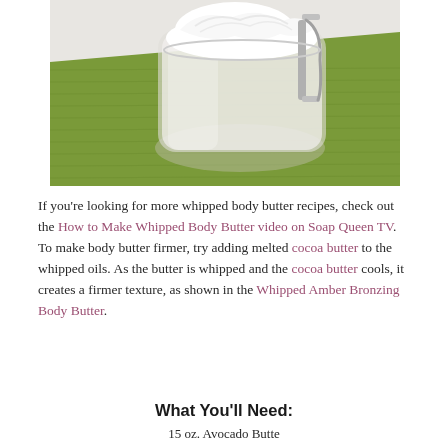[Figure (photo): A glass jar with a flip-top lid filled with white whipped body butter, sitting on a green textured cloth/towel on a white surface, viewed from above at an angle.]
If you’re looking for more whipped body butter recipes, check out the How to Make Whipped Body Butter video on Soap Queen TV. To make body butter firmer, try adding melted cocoa butter to the whipped oils. As the butter is whipped and the cocoa butter cools, it creates a firmer texture, as shown in the Whipped Amber Bronzing Body Butter.
What You’ll Need:
15 oz. Avocado Butte...